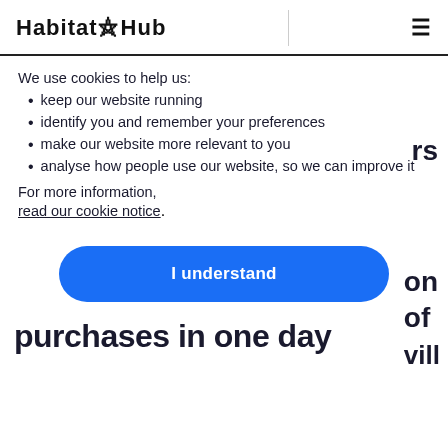Habitat Hub
We use cookies to help us:
keep our website running
identify you and remember your preferences
make our website more relevant to you
analyse how people use our website, so we can improve it
For more information, read our cookie notice.
I understand
purchases in one day